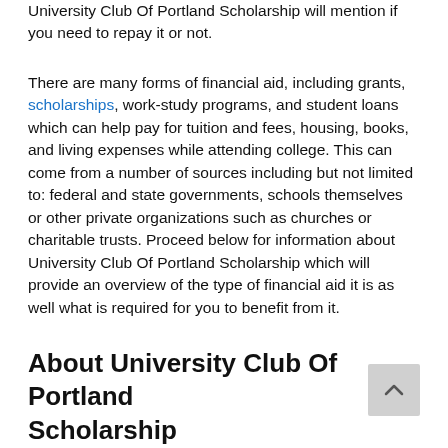University Club Of Portland Scholarship will mention if you need to repay it or not.
There are many forms of financial aid, including grants, scholarships, work-study programs, and student loans which can help pay for tuition and fees, housing, books, and living expenses while attending college. This can come from a number of sources including but not limited to: federal and state governments, schools themselves or other private organizations such as churches or charitable trusts. Proceed below for information about University Club Of Portland Scholarship which will provide an overview of the type of financial aid it is as well what is required for you to benefit from it.
About University Club Of Portland Scholarship